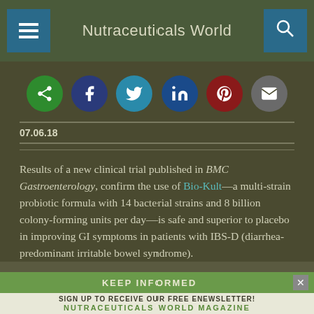Nutraceuticals World
[Figure (infographic): Social sharing icon buttons: share (green), Facebook (dark blue), Twitter (light blue), LinkedIn (blue), Pinterest (dark red), Email (gray)]
07.06.18
Results of a new clinical trial published in BMC Gastroenterology, confirm the use of Bio-Kult—a multi-strain probiotic formula with 14 bacterial strains and 8 billion colony-forming units per day—is safe and superior to placebo in improving GI symptoms in patients with IBS-D (diarrhea-predominant irritable bowel syndrome).
[Figure (infographic): KEEP INFORMED banner: Sign up to receive our free enewsletter! Nutraceuticals World Magazine]